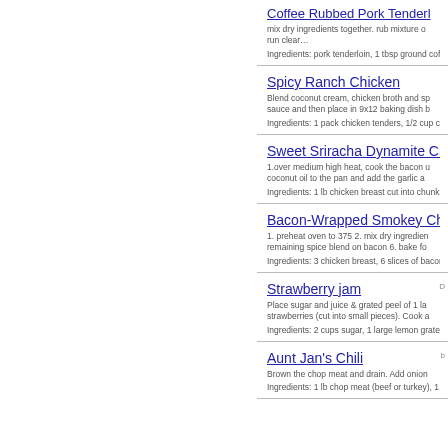Coffee Rubbed Pork Tenderloin
mix dry ingredients together. rub mixture on... run clear...
Ingredients: pork tenderloin, 1 tbsp ground coff...
Spicy Ranch Chicken
Blend coconut cream, chicken broth and sp... sauce and then place in 9x12 baking dish b...
Ingredients: 1 pack chicken tenders, 1/2 cup co...
Sweet Sriracha Dynamite Ch...
1.over medium high heat, cook the bacon u... coconut oil to the pan and add the garlic a...
Ingredients: 1 lb chicken breast cut into chunks...
Bacon-Wrapped Smokey Ch...
1. preheat oven to 375 2. mix dry ingredien... remaining spice blend on bacon 6. bake fo...
Ingredients: 3 chicken breast, 6 slices of bacon,...
Strawberry jam
Place sugar and juice & grated peel of 1 la... strawberries (cut into small pieces). Cook a...
Ingredients: 2 cups sugar, 1 large lemon grated...
Aunt Jan's Chili
Brown the chop meat and drain. Add onion...
Ingredients: 1 lb chop meat (beef or turkey), 1 ...